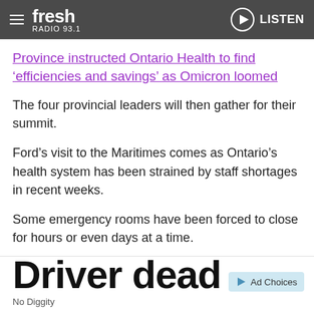Fresh Radio 93.1 — LISTEN
Province instructed Ontario Health to find 'efficiencies and savings' as Omicron loomed
The four provincial leaders will then gather for their summit.
Ford's visit to the Maritimes comes as Ontario's health system has been strained by staff shortages in recent weeks.
Some emergency rooms have been forced to close for hours or even days at a time.
© 2022 The Canadian Press
Driver dead
No Diggity